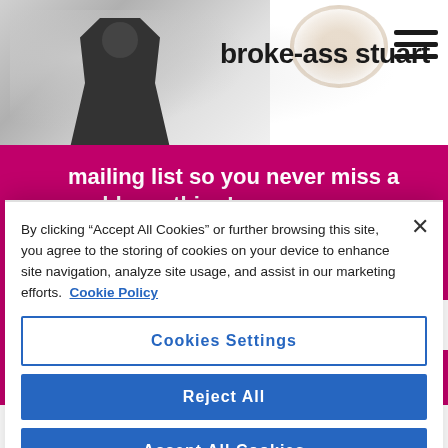[Figure (screenshot): broke-ass stuart website header with person silhouette, site title, coffee stain graphic, and hamburger menu]
mailing list so you never miss a goddamn thing!
email address
By clicking “Accept All Cookies” or further browsing this site, you agree to the storing of cookies on your device to enhance site navigation, analyze site usage, and assist in our marketing efforts.  Cookie Policy
Cookies Settings
Reject All
Accept All Cookies